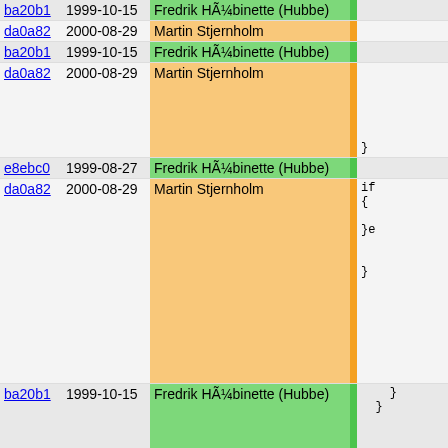| hash | date | author | bar | code |
| --- | --- | --- | --- | --- |
| ba20b1 | 1999-10-15 | Fredrik HÃ¼binette (Hubbe) |  |  |
| da0a82 | 2000-08-29 | Martin Stjernholm |  |  |
| ba20b1 | 1999-10-15 | Fredrik HÃ¼binette (Hubbe) |  |  |
| da0a82 | 2000-08-29 | Martin Stjernholm |  | } |
| e8ebc0 | 1999-08-27 | Fredrik HÃ¼binette (Hubbe) |  |  |
| da0a82 | 2000-08-29 | Martin Stjernholm |  | if
{
}e
} |
| ba20b1 | 1999-10-15 | Fredrik HÃ¼binette (Hubbe) |  | }
} |
| da0a82 | 2000-08-29 | Martin Stjernholm |  | return
} |
| e8ebc0 | 1999-08-27 | Fredrik HÃ¼binette (Hubbe) |  | } |